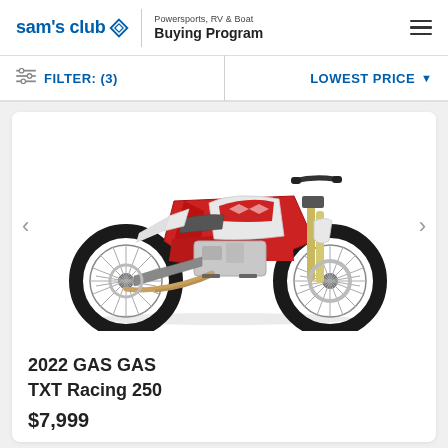sam's club ◇ | Powersports, RV & Boat Buying Program
FILTER: (3)  LOWEST PRICE ▼
[Figure (photo): 2022 GAS GAS TXT Racing 250 trials motorcycle, red frame with white body panels, knobby tires, no seat cover, shown in profile view on white background]
2022 GAS GAS
TXT Racing 250
$7,999